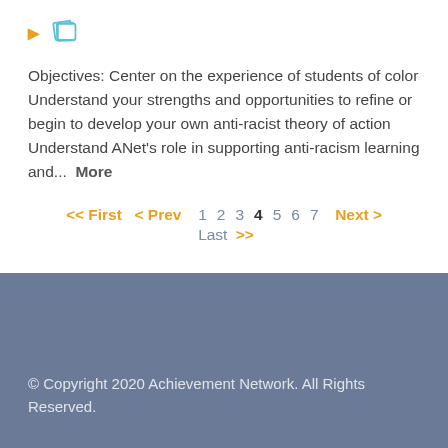[Figure (other): Orange right-arrow chevron icon and blue playing cards / flashcards icon]
Objectives: Center on the experience of students of color Understand your strengths and opportunities to refine or begin to develop your own anti-racist theory of action Understand ANet's role in supporting anti-racism learning and...  More
<< First  < Prev  1  2  3  4  5  6  7  Next >  Last >>
© Copyright 2020 Achievement Network. All Rights Reserved.